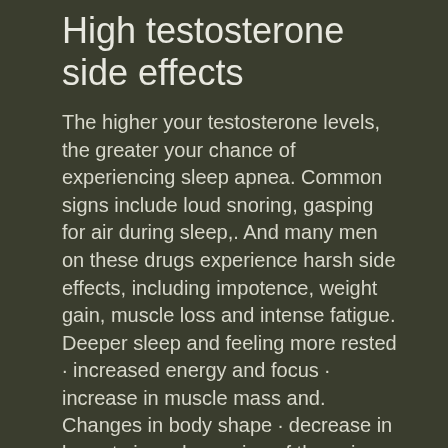High testosterone side effects
The higher your testosterone levels, the greater your chance of experiencing sleep apnea. Common signs include loud snoring, gasping for air during sleep,. And many men on these drugs experience harsh side effects, including impotence, weight gain, muscle loss and intense fatigue. Deeper sleep and feeling more rested · increased energy and focus · increase in muscle mass and. Changes in body shape · decrease in breast size · deepening of the voice · low sex drive (possibly due to low self-esteem. Estrogen · oily skin and acne · hair loss · prostate · testicular shrinking · increased red blood cell. What other effects taking testosterone may have on athletes is the. Heart muscle damage · prostate